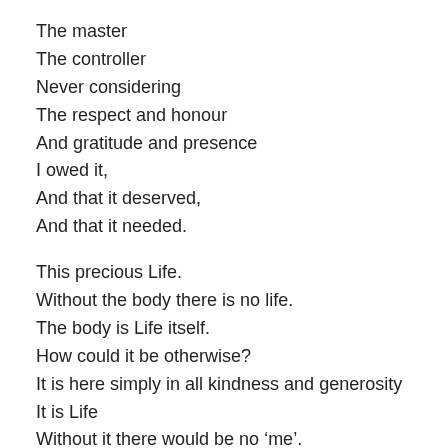The master
The controller
Never considering
The respect and honour
And gratitude and presence
I owed it,
And that it deserved,
And that it needed.

This precious Life.
Without the body there is no life.
The body is Life itself.
How could it be otherwise?
It is here simply in all kindness and generosity
It is Life
Without it there would be no ‘me’.